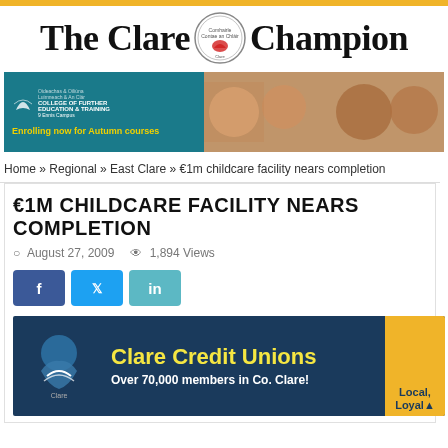The Clare Champion
[Figure (screenshot): Advertisement banner for College of Further Education & Training, 9 Ennis Campus. Text: Enrolling now for Autumn courses. Shows students in educational settings.]
Home » Regional » East Clare » €1m childcare facility nears completion
€1M CHILDCARE FACILITY NEARS COMPLETION
August 27, 2009  1,894 Views
[Figure (screenshot): Clare Credit Unions advertisement. Dark blue background with yellow text reading 'Clare Credit Unions', white text 'Over 70,000 members in Co. Clare!', yellow panel on right saying 'Local, Loyal'. Clare logo with hands holding map of Clare.]